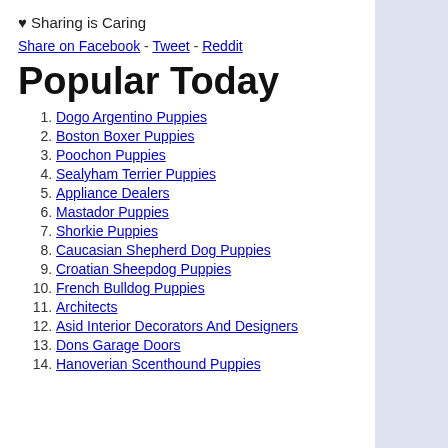♥ Sharing is Caring
Share on Facebook - Tweet - Reddit
Popular Today
1. Dogo Argentino Puppies
2. Boston Boxer Puppies
3. Poochon Puppies
4. Sealyham Terrier Puppies
5. Appliance Dealers
6. Mastador Puppies
7. Shorkie Puppies
8. Caucasian Shepherd Dog Puppies
9. Croatian Sheepdog Puppies
10. French Bulldog Puppies
11. Architects
12. Asid Interior Decorators And Designers
13. Dons Garage Doors
14. Hanoverian Scenthound Puppies